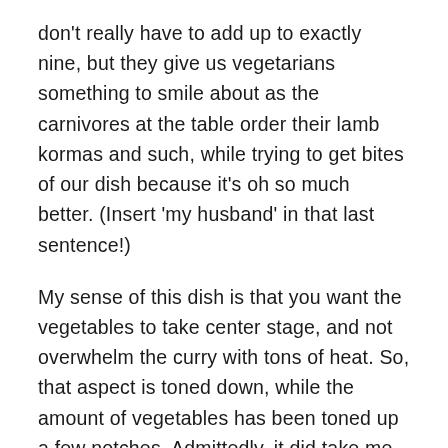don't really have to add up to exactly nine, but they give us vegetarians something to smile about as the carnivores at the table order their lamb kormas and such, while trying to get bites of our dish because it's oh so much better. (Insert 'my husband' in that last sentence!)
My sense of this dish is that you want the vegetables to take center stage, and not overwhelm the curry with tons of heat. So, that aspect is toned down, while the amount of vegetables has been toned up a few notches. Admittedly, it did take me some time to get this recipe right. I first made the mistake of adding way too many vegetables – 10 cups. It was just too thick with veggies and no